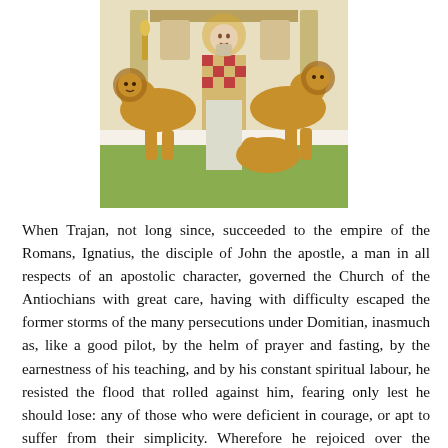[Figure (illustration): Religious icon-style illustration of a saint or bishop in ornate vestments being approached by two golden lions, with architectural elements in the background.]
When Trajan, not long since, succeeded to the empire of the Romans, Ignatius, the disciple of John the apostle, a man in all respects of an apostolic character, governed the Church of the Antiochians with great care, having with difficulty escaped the former storms of the many persecutions under Domitian, inasmuch as, like a good pilot, by the helm of prayer and fasting, by the earnestness of his teaching, and by his constant spiritual labour, he resisted the flood that rolled against him, fearing only lest he should lose: any of those who were deficient in courage, or apt to suffer from their simplicity. Wherefore he rejoiced over the tranquil state of the Church, when the persecution ceased for a little time, but was grieved